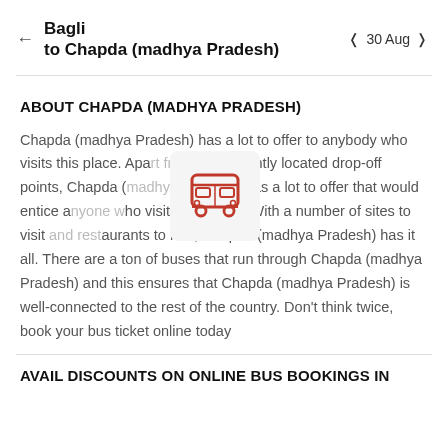Bagli to Chapda (madhya Pradesh) ← 30 Aug →
ABOUT CHAPDA (MADHYA PRADESH)
[Figure (illustration): Red bus icon in a light grey rounded square overlay]
Chapda (madhya Pradesh) has a lot to offer to anybody who visits this place. Apart from conveniently located drop-off points, Chapda (madhya Pradesh) has a lot to offer that would entice anyone who visits this place. With a number of sites to visit and restaurants to raid, Chapda (madhya Pradesh) has it all. There are a ton of buses that run through Chapda (madhya Pradesh) and this ensures that Chapda (madhya Pradesh) is well-connected to the rest of the country. Don't think twice, book your bus ticket online today
AVAIL DISCOUNTS ON ONLINE BUS BOOKINGS IN